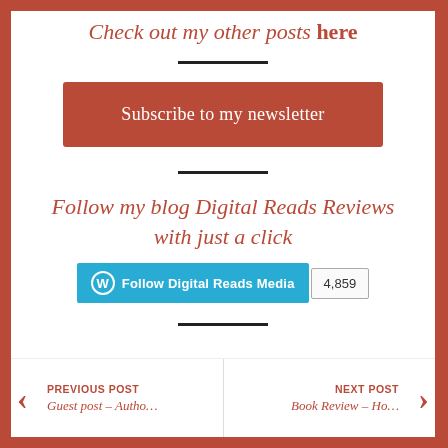Check out my other posts here
[Figure (other): Subscribe to my newsletter button (dark red/terracotta rectangle)]
Follow my blog Digital Reads Reviews with just a click
[Figure (other): WordPress Follow Digital Reads Media button with follower count 4,859]
PREVIOUS POST Guest post – Autho… | NEXT POST Book Review – Ho…